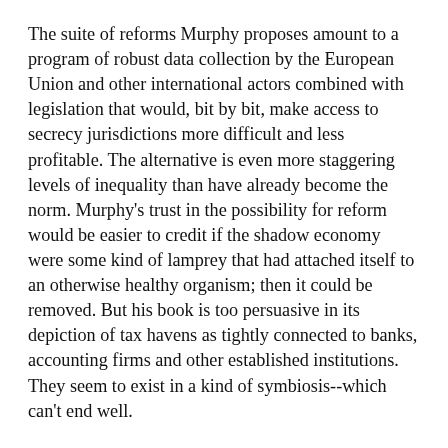The suite of reforms Murphy proposes amount to a program of robust data collection by the European Union and other international actors combined with legislation that would, bit by bit, make access to secrecy jurisdictions more difficult and less profitable. The alternative is even more staggering levels of inequality than have already become the norm. Murphy's trust in the possibility for reform would be easier to credit if the shadow economy were some kind of lamprey that had attached itself to an otherwise healthy organism; then it could be removed. But his book is too persuasive in its depiction of tax havens as tightly connected to banks, accounting firms and other established institutions. They seem to exist in a kind of symbiosis--which can't end well.
First published at Inside Higher Ed.